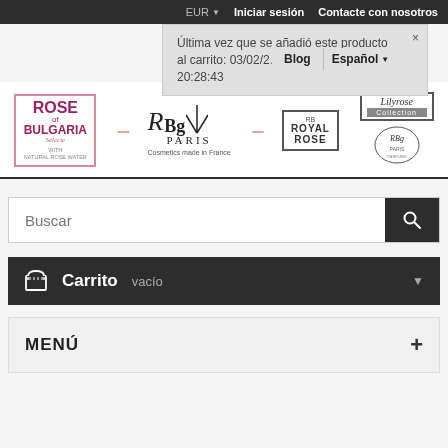EUR  Iniciar sesión  Contacte con nosotros
Última vez que se añadió este producto al carrito: 03/02/2... 20:28:43
Blog  Español
[Figure (logo): Rose of Bulgaria, RBg Paris, Royal Rose, Lilyrose Collection, RBg Paris round logos with text 'Cosmetics made in France']
Buscar
Carrito vacío
MENÚ